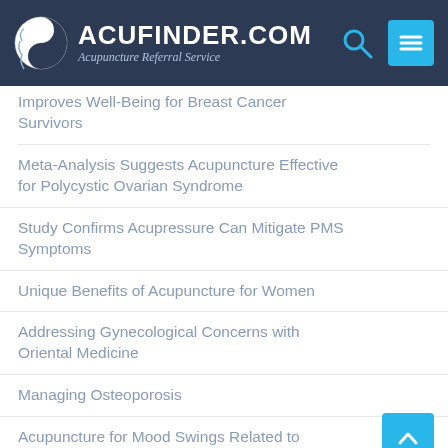ACUFINDER.COM — Acupuncture Referral Service
Improves Well-Being for Breast Cancer Survivors
Meta-Analysis Suggests Acupuncture Effective for Polycystic Ovarian Syndrome
Study Confirms Acupressure Can Mitigate PMS Symptoms
Unique Benefits of Acupuncture for Women
Addressing Gynecological Concerns with Oriental Medicine
Managing Osteoporosis
Acupuncture for Mood Swings Related to Menopause and Andropause
Acupuncture for Post-Menopausal & Post-Andropausal Concerns